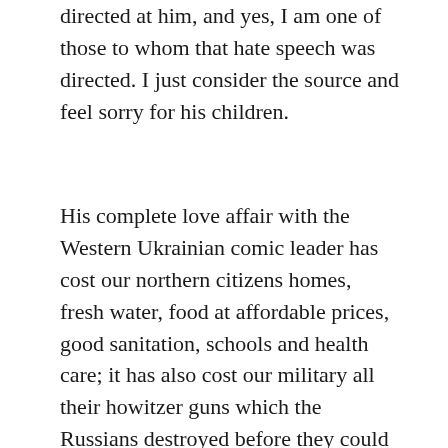directed at him, and yes, I am one of those to whom that hate speech was directed. I just consider the source and feel sorry for his children.
His complete love affair with the Western Ukrainian comic leader has cost our northern citizens homes, fresh water, food at affordable prices, good sanitation, schools and health care; it has also cost our military all their howitzer guns which the Russians destroyed before they could be used against the Ukraine people by the comic's nazi army.  Just heard him say